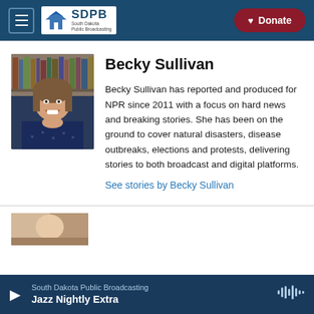SDPB South Dakota Public Broadcasting | Donate
[Figure (photo): Headshot of Becky Sullivan, a woman with light skin and long hair, wearing a dark blue patterned blouse, arms crossed, smiling, with bookshelves in background]
Becky Sullivan
Becky Sullivan has reported and produced for NPR since 2011 with a focus on hard news and breaking stories. She has been on the ground to cover natural disasters, disease outbreaks, elections and protests, delivering stories to both broadcast and digital platforms.
See stories by Becky Sullivan
[Figure (photo): Partial preview thumbnail of an article image]
South Dakota Public Broadcasting
Jazz Nightly Extra